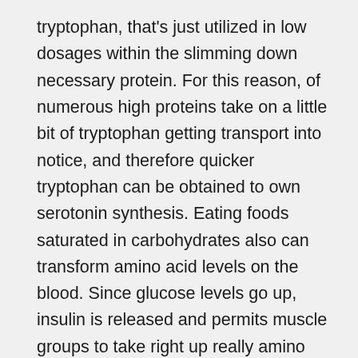tryptophan, that's just utilized in low dosages within the slimming down necessary protein. For this reason, of numerous high proteins take on a little bit of tryptophan getting transport into notice, and therefore quicker tryptophan can be obtained to own serotonin synthesis. Eating foods saturated in carbohydrates also can transform amino acid levels on the blood. Since glucose levels go up, insulin is released and permits muscle groups to take right up really amino acids apart from tryptophan, that is destined to albumin regarding blood. Thus, brand new proportion out of tryptophan relative to most other amino acids on bloodstream grows, that enables tryptophan so you can join in order to transporters, go into the attention for the large amounts, and you may